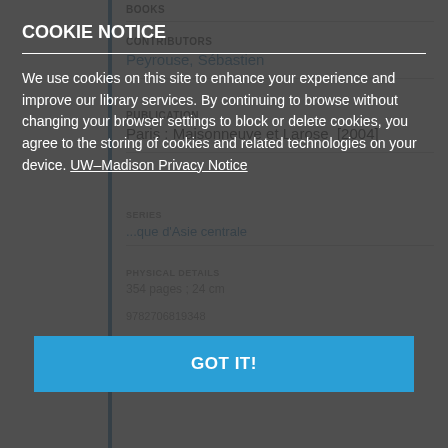BOOKS
CONTRIBUTORS
Peyrouse, Sébastien
PUBLICATION
Paris : Maisonneuve et Larose, [2004]
SERIES
...que d'Asie centrale
PHYSICAL DETAILS
354 pages ; 24 cm
9782706819348
OCLC
ocm56064191
COOKIE NOTICE
We use cookies on this site to enhance your experience and improve our library services. By continuing to browse without changing your browser settings to block or delete cookies, you agree to the storing of cookies and related technologies on your device. UW–Madison Privacy Notice
GOT IT!